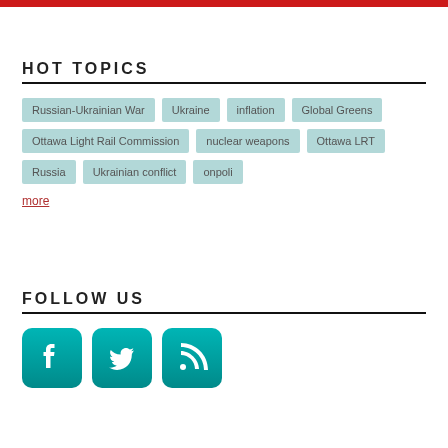HOT TOPICS
Russian-Ukrainian War
Ukraine
inflation
Global Greens
Ottawa Light Rail Commission
nuclear weapons
Ottawa LRT
Russia
Ukrainian conflict
onpoli
more
FOLLOW US
[Figure (infographic): Three social media icons: Facebook (f), Twitter (t/bird), and RSS feed icon, all in teal/green rounded square buttons]